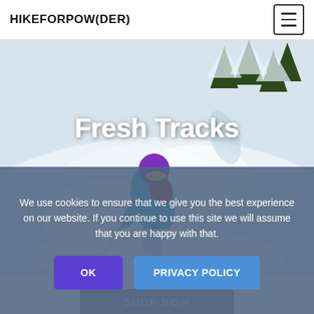HIKEFORPOW(DER)
[Figure (photo): A skier in a teal jacket and purple helmet carving through deep powder snow with snow-covered trees in the background. Text overlay reads 'Fresh Tracks'.]
We use cookies to ensure that we give you the best experience on our website. If you continue to use this site we will assume that you are happy with that.
OK
PRIVACY POLICY
SHOP NOW